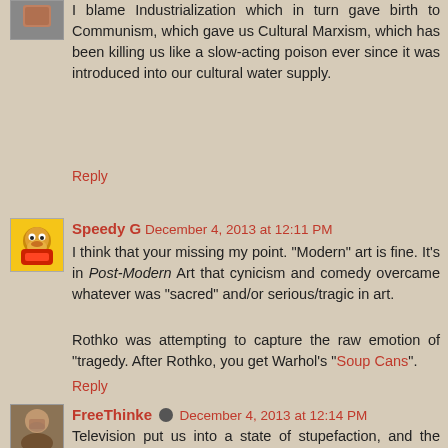[Figure (photo): Small avatar image of first commenter, partial view at top-left]
I blame Industrialization which in turn gave birth to Communism, which gave us Cultural Marxism, which has been killing us like a slow-acting poison ever since it was introduced into our cultural water supply.
Reply
[Figure (illustration): Speedy Gonzales cartoon avatar on yellow background]
Speedy G  December 4, 2013 at 12:11 PM
I think that your missing my point. "Modern" art is fine. It's in Post-Modern Art that cynicism and comedy overcame whatever was "sacred" and/or serious/tragic in art.

Rothko was attempting to capture the raw emotion of "tragedy. After Rothko, you get Warhol's "Soup Cans".
Reply
[Figure (photo): FreeThinke avatar showing a man with beard]
FreeThinke  December 4, 2013 at 12:14 PM
Television put us into a state of stupefaction, and the computer-cell-phone culture is in the process of giving us